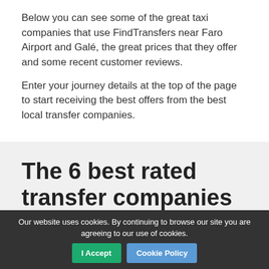Below you can see some of the great taxi companies that use FindTransfers near Faro Airport and Galé, the great prices that they offer and some recent customer reviews.
Enter your journey details at the top of the page to start receiving the best offers from the best local transfer companies.
The 6 best rated transfer companies between Faro Airport and Galé
Our website uses cookies. By continuing to browse our site you are agreeing to our use of cookies. I Accept Cookie Policy